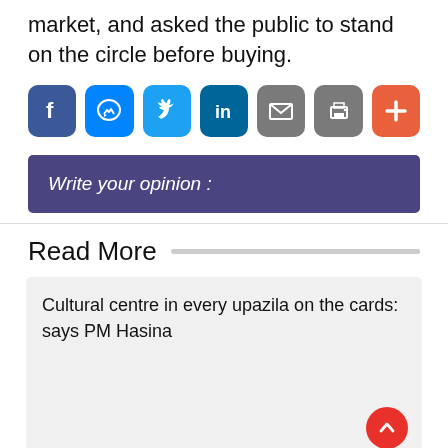market, and asked the public to stand on the circle before buying.
[Figure (infographic): Row of 7 social share buttons: Facebook (dark blue), Messenger (blue), Twitter (light blue), LinkedIn (teal), Email (gray), Print (gray), Plus/More (orange-red)]
Write your opinion :
Read More
Cultural centre in every upazila on the cards: says PM Hasina